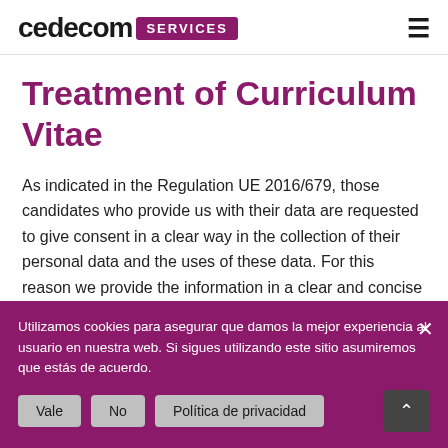[Figure (logo): Cedecom Services logo with text 'cedecom' in black bold font and 'SERVICES' in white on a purple/magenta rounded rectangle badge, plus a hamburger menu icon on the right]
Treatment of Curriculum Vitae
As indicated in the Regulation UE 2016/679, those candidates who provide us with their data are requested to give consent in a clear way in the collection of their personal data and the uses of these data. For this reason we provide the information in a clear and concise manner, also indicating that the candidate may request a copy of their data, which will be provided in a structured format.
Utilizamos cookies para asegurar que damos la mejor experiencia al usuario en nuestra web. Si sigues utilizando este sitio asumiremos que estás de acuerdo.